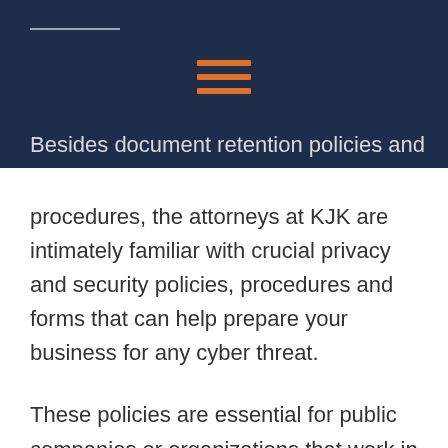Besides document retention policies and procedures, the attorneys at KJK are intimately familiar with crucial privacy and security policies, procedures and forms that can help prepare your business for any cyber threat.
These policies are essential for public companies or organizations that work in heavily regulated industries like healthcare, insurance or finance. With inadequate security policies and procedures in place, your company risks incurring large and costly penalties.